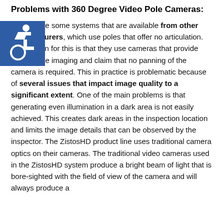Problems with 360 Degree Video Pole Cameras:
[Figure (illustration): Accessibility/wheelchair icon in a blue square]
There are some systems that are available from other manufacturers, which use poles that offer no articulation. The reason for this is that they use cameras that provide 360-degree imaging and claim that no panning of the camera is required. This in practice is problematic because of several issues that impact image quality to a significant extent. One of the main problems is that generating even illumination in a dark area is not easily achieved. This creates dark areas in the inspection location and limits the image details that can be observed by the inspector. The ZistosHD product line uses traditional camera optics on their cameras. The traditional video cameras used in the ZistosHD system produce a bright beam of light that is bore-sighted with the field of view of the camera and will always produce a